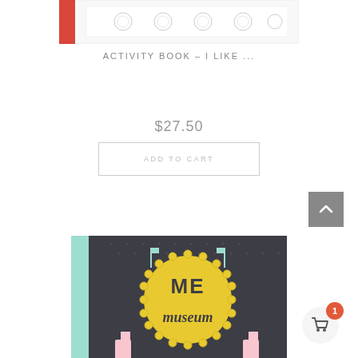[Figure (photo): Top portion of an activity book with red spine and decorative pattern on white cover]
ACTIVITY BOOK – I LIKE ...
$27.50
ADD TO CART
[Figure (illustration): Scroll-to-top button with upward chevron arrow on grey background]
[Figure (photo): Me Museum book cover with dark background, mint spine, yellow circular badge, and decorative illustrated elements with text ME museum]